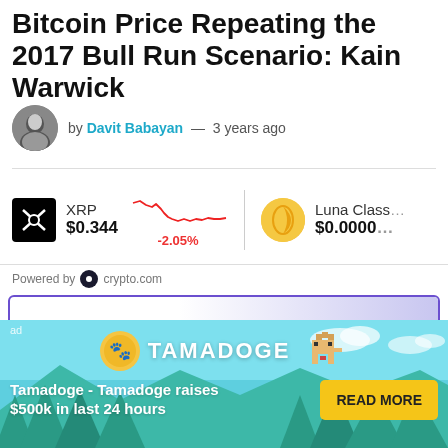Bitcoin Price Repeating the 2017 Bull Run Scenario: Kain Warwick
by Davit Babayan — 3 years ago
[Figure (infographic): Cryptocurrency ticker bar showing XRP at $0.344 with -2.05% change (downward line chart in red), and Luna Classic at $0.0000]
Powered by crypto.com
[Figure (logo): Advertisement banner with purple Decentraland/mango-style logo and partial text 'ango']
[Figure (infographic): Tamadoge advertisement banner: 'Tamadoge - Tamadoge raises $500k in last 24 hours' with READ MORE button]